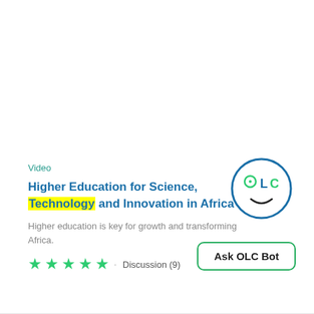Video
Higher Education for Science, Technology and Innovation in Africa
Higher education is key for growth and transforming Africa.
★★★★★ · Discussion (9)
[Figure (logo): OLC circular logo with stylized face using letters O, L, C and a smile]
Ask OLC Bot